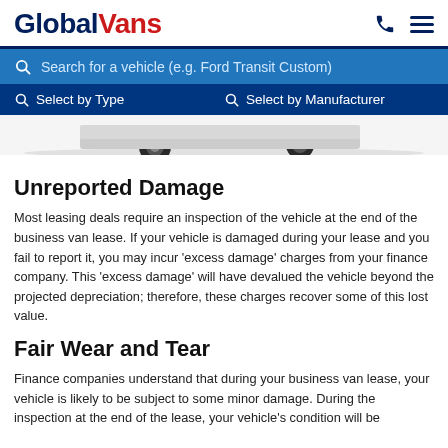GlobalVans
Search for a vehicle (e.g. Ford Transit Custom)
Select by Type   Select by Manufacturer
[Figure (photo): Partial view of a van showing wheels and undercarriage]
Unreported Damage
Most leasing deals require an inspection of the vehicle at the end of the business van lease. If your vehicle is damaged during your lease and you fail to report it, you may incur ‘excess damage’ charges from your finance company. This ‘excess damage’ will have devalued the vehicle beyond the projected depreciation; therefore, these charges recover some of this lost value.
Fair Wear and Tear
Finance companies understand that during your business van lease, your vehicle is likely to be subject to some minor damage. During the inspection at the end of the lease, your vehicle’s condition will be